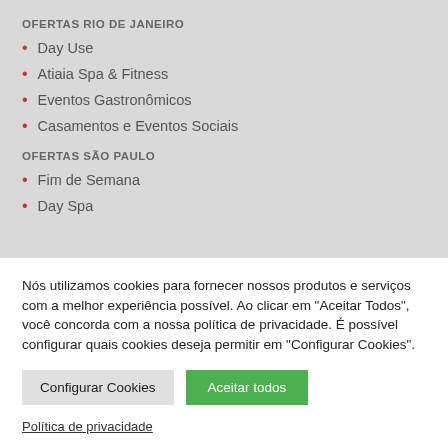OFERTAS RIO DE JANEIRO
Day Use
Atiaia Spa & Fitness
Eventos Gastronômicos
Casamentos e Eventos Sociais
OFERTAS SÃO PAULO
Fim de Semana
Day Spa
Nós utilizamos cookies para fornecer nossos produtos e serviços com a melhor experiência possível. Ao clicar em "Aceitar Todos", você concorda com a nossa política de privacidade. É possível configurar quais cookies deseja permitir em "Configurar Cookies".
Configurar Cookies | Aceitar todos
Política de privacidade